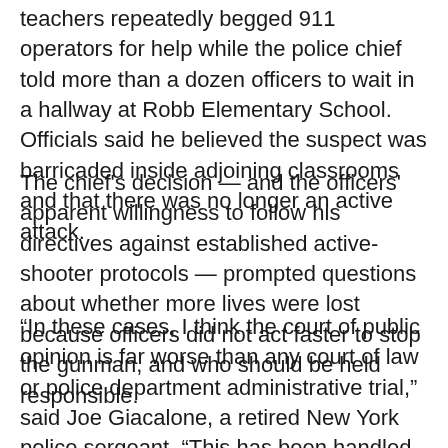teachers repeatedly begged 911 operators for help while the police chief told more than a dozen officers to wait in a hallway at Robb Elementary School. Officials said he believed the suspect was barricaded inside adjoining classrooms and that there was no longer an active attack.
The chief's decision — and the officers' apparent willingness to follow his directives against established active-shooter protocols — prompted questions about whether more lives were lost because officers did not act faster to stop the gunman, and who should be held responsible.
“In these cases, I think the court of public opinion is far worse than any court of law or police department administrative trial,” said Joe Giacalone, a retired New York police sergeant. “This has been handled so terribly on so many levels, there will be a sacrificial lamb here or there.”